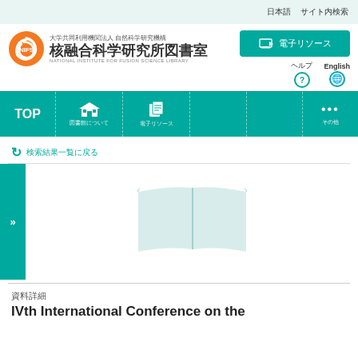日本語 サイト内検索
[Figure (logo): NIFS orange swirl logo with Japanese text 大学共同利用機関法人 自然科学研究機構 核融合科学研究所図書室 and English text NATIONAL INSTITUTE FOR FUSION SCIENCE LIBRARY]
[Figure (infographic): Teal green button with computer icon and Japanese text, question mark circle icon with Japanese label, English globe icon with English label]
[Figure (infographic): Teal navigation bar with TOP, building icon (図書館について), document icon (電子リソース), empty sections, and dots menu (その他)]
検索結果一覧に戻る
[Figure (illustration): Open book illustration in light teal/mint color, centered in content area with teal side tab showing >>]
資料詳細
IVth International Conference on the